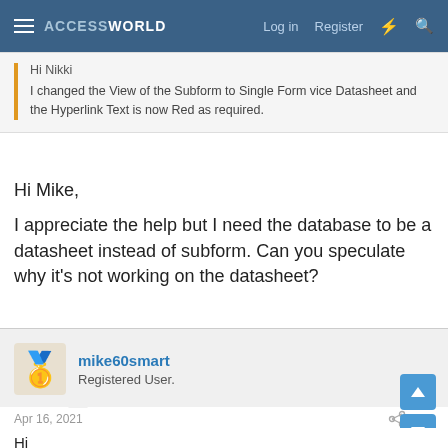ACCESSWORLD  Log in  Register
Hi Nikki

I changed the View of the Subform to Single Form vice Datasheet and the Hyperlink Text is now Red as required.
Hi Mike,

I appreciate the help but I need the database to be a datasheet instead of subform. Can you speculate why it's not working on the datasheet?
mike60smart
Registered User.
Apr 16, 2021  #10
Hi
I find that lots of things tend not to be available when in Datasheet View.